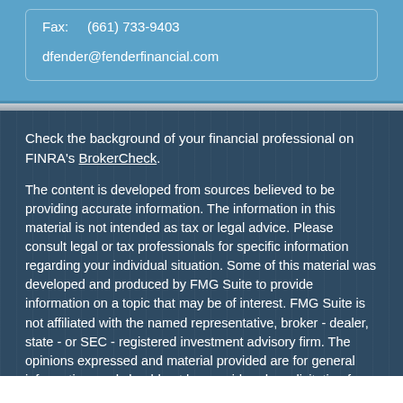Fax: (661) 733-9403
dfender@fenderfinancial.com
Check the background of your financial professional on FINRA's BrokerCheck.
The content is developed from sources believed to be providing accurate information. The information in this material is not intended as tax or legal advice. Please consult legal or tax professionals for specific information regarding your individual situation. Some of this material was developed and produced by FMG Suite to provide information on a topic that may be of interest. FMG Suite is not affiliated with the named representative, broker - dealer, state - or SEC - registered investment advisory firm. The opinions expressed and material provided are for general information, and should not be considered a solicitation for the purchase or sale of any security.